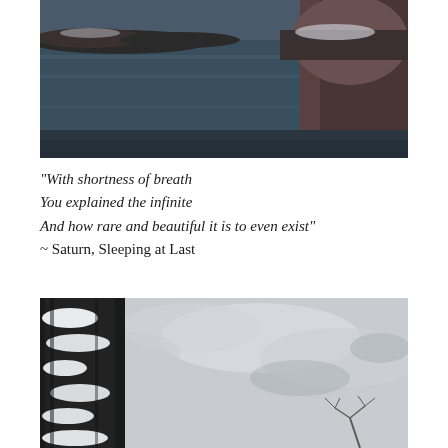[Figure (photo): A dark, moody nature photograph showing rocky shoreline with calm reflective water. Large brown and grey rocks are visible on the right side with water in the foreground and background.]
“With shortness of breath
You explained the infinite
And how rare and beautiful it is to even exist”
~ Saturn, Sleeping at Last
[Figure (photo): A black and white winter photograph showing a snow-covered tree trunk on the left side against a cloudy sky background with bare tree branches visible in the lower right.]